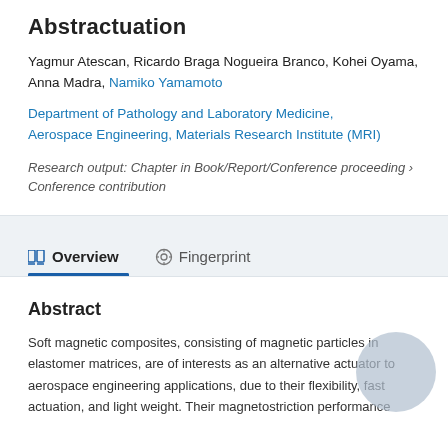Abstractuation
Yagmur Atescan, Ricardo Braga Nogueira Branco, Kohei Oyama, Anna Madra, Namiko Yamamoto
Department of Pathology and Laboratory Medicine, Aerospace Engineering, Materials Research Institute (MRI)
Research output: Chapter in Book/Report/Conference proceeding › Conference contribution
Overview
Fingerprint
Abstract
Soft magnetic composites, consisting of magnetic particles in elastomer matrices, are of interests as an alternative actuator to aerospace engineering applications, due to their flexibility, fast actuation, and light weight. Their magnetostriction performance